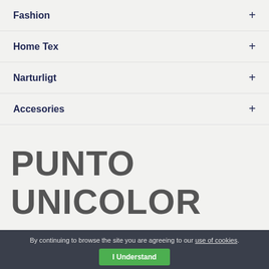Fashion +
Home Tex +
Narturligt +
Accesories +
PUNTO UNICOLOR
Sort by latest
By continuing to browse the site you are agreeing to our use of cookies. I Understand